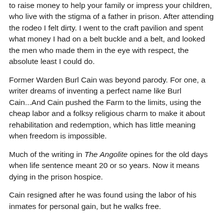to raise money to help your family or impress your children, who live with the stigma of a father in prison. After attending the rodeo I felt dirty. I went to the craft pavilion and spent what money I had on a belt buckle and a belt, and looked the men who made them in the eye with respect, the absolute least I could do.
Former Warden Burl Cain was beyond parody. For one, a writer dreams of inventing a perfect name like Burl Cain...And Cain pushed the Farm to the limits, using the cheap labor and a folksy religious charm to make it about rehabilitation and redemption, which has little meaning when freedom is impossible.
Much of the writing in The Angolite opines for the old days when life sentence meant 20 or so years. Now it means dying in the prison hospice.
Cain resigned after he was found using the labor of his inmates for personal gain, but he walks free.